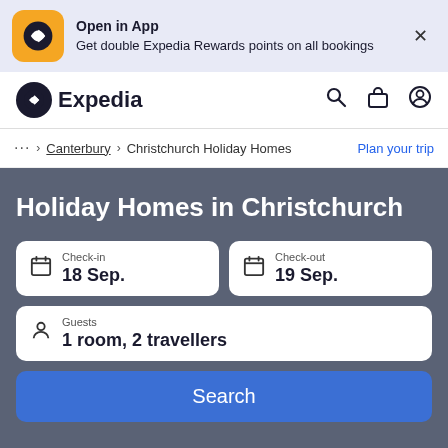[Figure (screenshot): Expedia app promotional banner with yellow logo, text 'Open in App / Get double Expedia Rewards points on all bookings', and close X button]
[Figure (logo): Expedia navigation bar with logo, search icon, briefcase icon, and user icon]
… > Canterbury > Christchurch Holiday Homes    Plan your trip
Holiday Homes in Christchurch
Check-in
18 Sep.
Check-out
19 Sep.
Guests
1 room, 2 travellers
Search